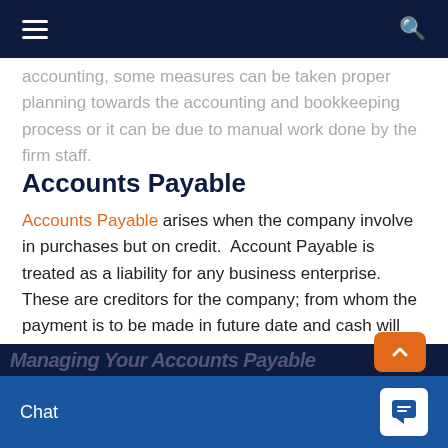Navigation bar with hamburger menu and search icon
accounting, some measures can be taken proper planning towards the accounting and bookkeeping process or it can be due to manual work done by the firm staff.
Accounts Payable
Accounts Payable arises when the company involve in purchases but on credit. Account Payable is treated as a liability for any business enterprise. These are creditors for the company; from whom the payment is to be made in future date and cash will flow outward from the firm. The person stated as accounts payable are the firms clients with which they are involv…
Chat